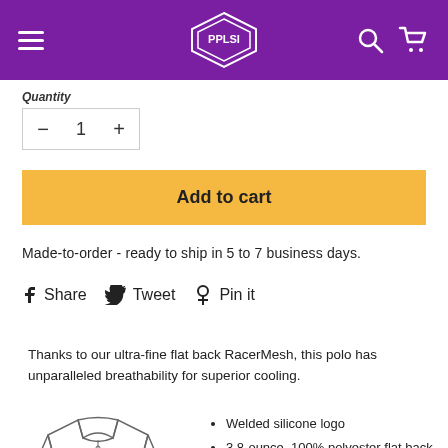PPLSI navigation header with hamburger menu, logo, search and cart icons
Quantity
- 1 +
Add to cart
Made-to-order - ready to ship in 5 to 7 business days.
Share  Tweet  Pin it
Thanks to our ultra-fine flat back RacerMesh, this polo has unparalleled breathability for superior cooling.
[Figure (illustration): Line drawing of a polo shirt]
Welded silicone logo
3.8-ounce, 100% polyester flat back mesh with PosiCharge